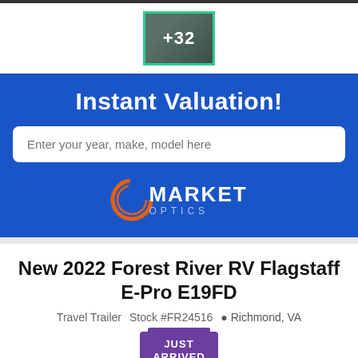[Figure (photo): Thumbnail image of RV interior with +32 overlay indicating 32 more photos]
Instant Valuation!
Enter your year, make, model here
[Figure (logo): Market Optics logo with orange circle arc and white text]
New 2022 Forest River RV Flagstaff E-Pro E19FD
Travel Trailer   Stock #FR24516   Richmond, VA
[Figure (illustration): Just Arrived badge in purple]
Available for deposit! Call for all the details!